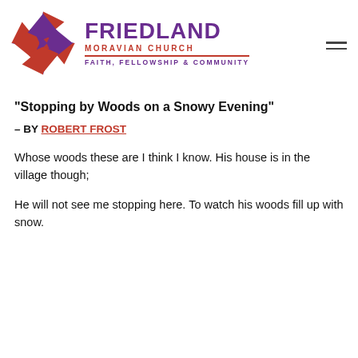[Figure (logo): Friedland Moravian Church logo with star/cross emblem in red and purple, text reading FRIEDLAND MORAVIAN CHURCH FAITH, FELLOWSHIP & COMMUNITY]
“Stopping by Woods on a Snowy Evening”
– BY ROBERT FROST
Whose woods these are I think I know. His house is in the village though;
He will not see me stopping here. To watch his woods fill up with snow.